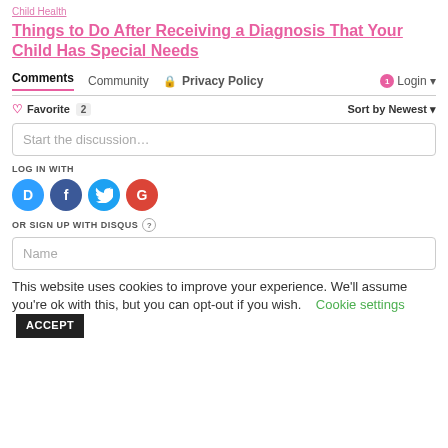Child Health
Things to Do After Receiving a Diagnosis That Your Child Has Special Needs
Comments  Community  🔒 Privacy Policy  1 Login ▾
♡ Favorite  2   Sort by Newest ▾
Start the discussion…
LOG IN WITH
[Figure (infographic): Social login buttons: Disqus (D), Facebook (f), Twitter bird, Google (G)]
OR SIGN UP WITH DISQUS ?
Name
This website uses cookies to improve your experience. We'll assume you're ok with this, but you can opt-out if you wish.  Cookie settings  ACCEPT